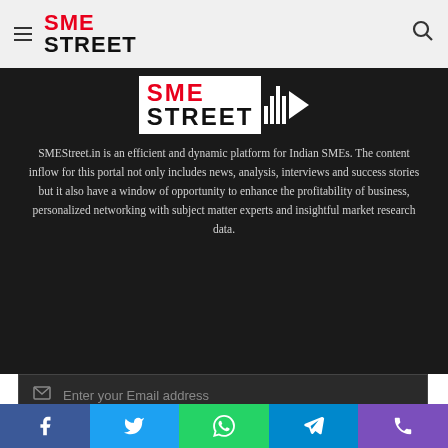SME STREET
[Figure (logo): SME STREET logo with play button bars on dark background]
SMEStreet.in is an efficient and dynamic platform for Indian SMEs. The content inflow for this portal not only includes news, analysis, interviews and success stories but it also have a window of opportunity to enhance the profitability of business, personalized networking with subject matter experts and insightful market research data.
Enter your Email address
Subscribe